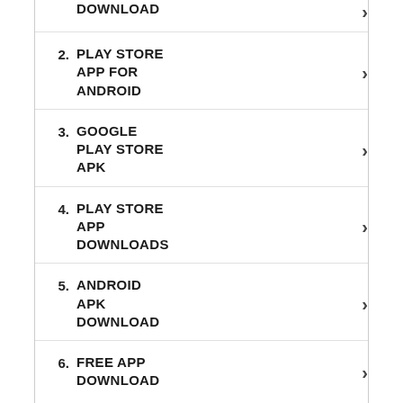DOWNLOAD
2. PLAY STORE APP FOR ANDROID
3. GOOGLE PLAY STORE APK
4. PLAY STORE APP DOWNLOADS
5. ANDROID APK DOWNLOAD
6. FREE APP DOWNLOAD